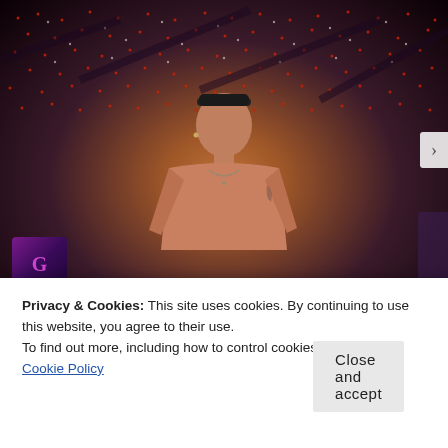[Figure (photo): A shirtless man wearing a backwards cap, photographed in a dark nightclub setting with red LED dot lights on the ceiling and purple/blue lighting in the background. The ceiling has geometric patterns made of small red and white lights.]
Privacy & Cookies: This site uses cookies. By continuing to use this website, you agree to their use.
To find out more, including how to control cookies, see here: Cookie Policy
Close and accept